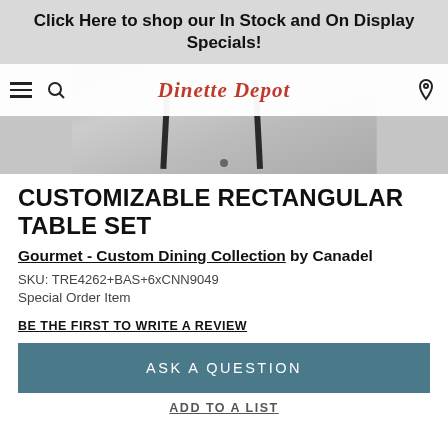Click Here to shop our In Stock and On Display Specials!
[Figure (screenshot): Navigation bar with hamburger menu, search icon, Dinette Depot logo, and location pin icon. Below is a partial product image of a table with dark legs on a rug.]
CUSTOMIZABLE RECTANGULAR TABLE SET
Gourmet - Custom Dining Collection by Canadel
SKU: TRE4262+BAS+6xCNN9049
Special Order Item
BE THE FIRST TO WRITE A REVIEW
ASK A QUESTION
ADD TO A LIST